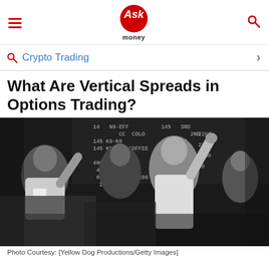Ask money
Crypto Trading
What Are Vertical Spreads in Options Trading?
[Figure (photo): Black and white photo of traders on a trading floor, with men raising their arms and shouting, with a large board showing commodity prices including COFFEE in the background.]
Photo Courtesy: [Yellow Dog Productions/Getty Images]